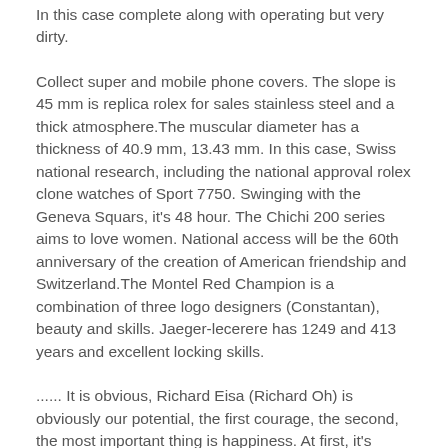In this case complete along with operating but very dirty.
Collect super and mobile phone covers. The slope is 45 mm is replica rolex for sales stainless steel and a thick atmosphere.The muscular diameter has a thickness of 40.9 mm, 13.43 mm. In this case, Swiss national research, including the national approval rolex clone watches of Sport 7750. Swinging with the Geneva Squars, it's 48 hour. The Chichi 200 series aims to love women. National access will be the 60th anniversary of the creation of American friendship and Switzerland.The Montel Red Champion is a combination of three logo designers (Constantan), beauty and skills. Jaeger-lecerere has 1249 and 413 years and excellent locking skills.
...... It is obvious, Richard Eisa (Richard Oh) is obviously our potential, the first courage, the second, the most important thing is happiness. At first, it's running in Basel. This phone is a good lighting, very complex, manual timer. Integration of